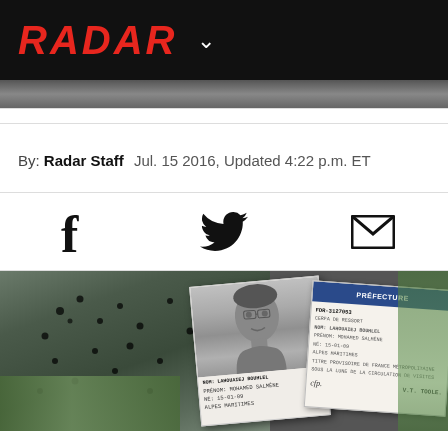RADAR
By: Radar Staff   Jul. 15 2016, Updated 4:22 p.m. ET
[Figure (illustration): Social sharing icons: Facebook (f), Twitter bird icon, and email envelope icon]
[Figure (photo): Bottom photo collage showing bullet-riddled windshield or surface on the left, a black-and-white ID photo in the center, and a French identification document on the right with text including LAHOUAIEJ BOUHLEL and personal details]